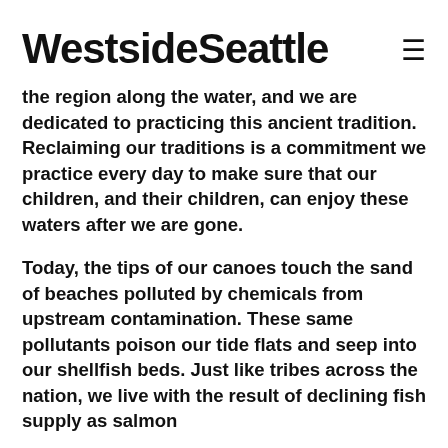Westside Seattle
the region along the water, and we are dedicated to practicing this ancient tradition. Reclaiming our traditions is a commitment we practice every day to make sure that our children, and their children, can enjoy these waters after we are gone.
Today, the tips of our canoes touch the sand of beaches polluted by chemicals from upstream contamination. These same pollutants poison our tide flats and seep into our shellfish beds. Just like tribes across the nation, we live with the result of declining fish supply as salmon